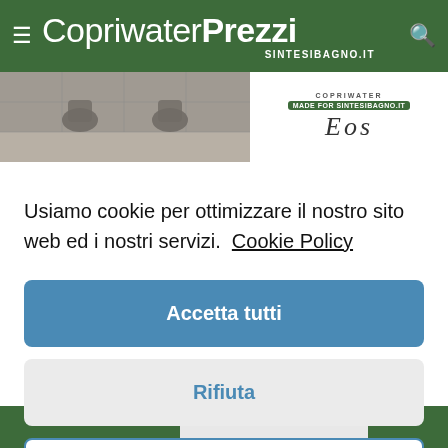≡ CopriwaterPrezzi SINTESIBAGNO.IT 🔍
[Figure (screenshot): Ad banner showing toilet/bathroom product image on left and Eos product branding on right with 'COPRIWATER MADE FOR SintesiBagno.it' text and 'Eos' in large italic lettering]
Usiamo cookie per ottimizzare il nostro sito web ed i nostri servizi.  Cookie Policy
Accetta tutti
Rifiuta
Preferenze